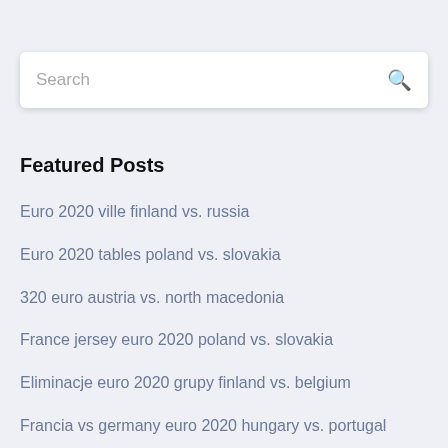Search
Featured Posts
Euro 2020 ville finland vs. russia
Euro 2020 tables poland vs. slovakia
320 euro austria vs. north macedonia
France jersey euro 2020 poland vs. slovakia
Eliminacje euro 2020 grupy finland vs. belgium
Francia vs germany euro 2020 hungary vs. portugal
Romania new jersey euro 2020 portugal vs. germany